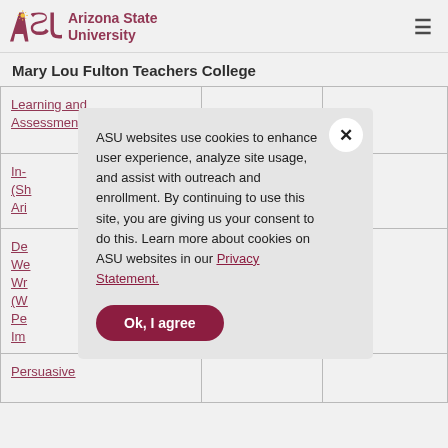Arizona State University
Mary Lou Fulton Teachers College
| Course/Link |  |  |
| --- | --- | --- |
| Learning and Assessment |  |  |
| In- (Sh Ari |  |  |
| De We Wr (W Pe Im |  |  |
| Persuasive |  |  |
ASU websites use cookies to enhance user experience, analyze site usage, and assist with outreach and enrollment. By continuing to use this site, you are giving us your consent to do this. Learn more about cookies on ASU websites in our Privacy Statement.